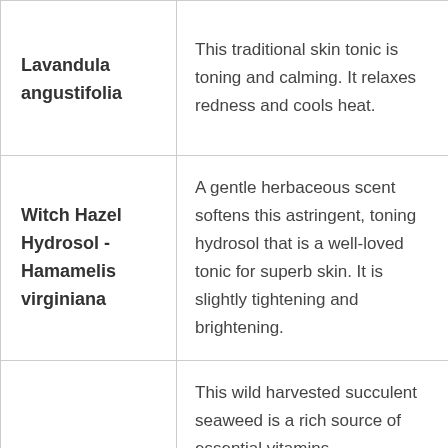| Ingredient | Description |
| --- | --- |
| Lavandula angustifolia | This traditional skin tonic is toning and calming. It relaxes redness and cools heat. |
| Witch Hazel Hydrosol - Hamamelis virginiana | A gentle herbaceous scent softens this astringent, toning hydrosol that is a well-loved tonic for superb skin. It is slightly tightening and brightening. |
|  | This wild harvested succulent seaweed is a rich source of essential vitamins |